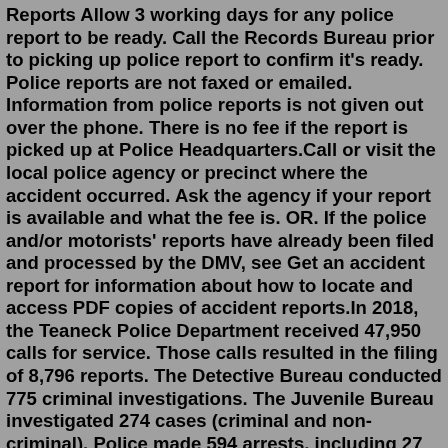Reports Allow 3 working days for any police report to be ready. Call the Records Bureau prior to picking up police report to confirm it's ready. Police reports are not faxed or emailed. Information from police reports is not given out over the phone. There is no fee if the report is picked up at Police Headquarters.Call or visit the local police agency or precinct where the accident occurred. Ask the agency if your report is available and what the fee is. OR. If the police and/or motorists' reports have already been filed and processed by the DMV, see Get an accident report for information about how to locate and access PDF copies of accident reports.In 2018, the Teaneck Police Department received 47,950 calls for service. Those calls resulted in the filing of 8,796 reports. The Detective Bureau conducted 775 criminal investigations. The Juvenile Bureau investigated 274 cases (criminal and non-criminal). Police made 594 arrests, including 27 arrests for Driving While Intoxicated (DWI).When one happens to you, New Jersey requires that you report it if it involves injury,